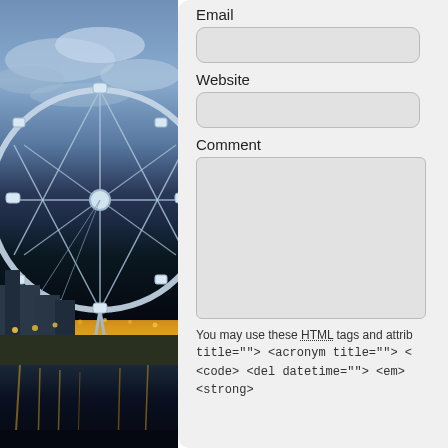[Figure (photo): Nighttime photo of the London Eye (large Ferris wheel) with city lights reflected in the Thames, purple-blue sky with clouds]
Email
Website
Comment
You may use these HTML tags and attrib title=""> <acronym title=""> < <code> <del datetime=""> <em> <strong>